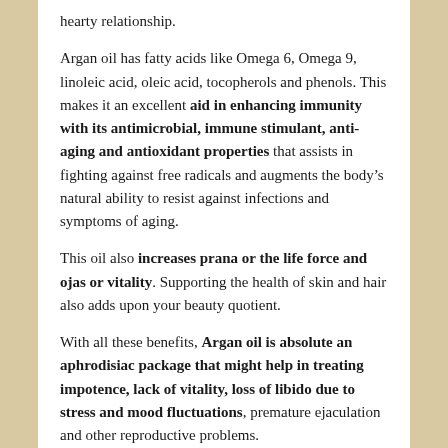hearty relationship.
Argan oil has fatty acids like Omega 6, Omega 9, linoleic acid, oleic acid, tocopherols and phenols. This makes it an excellent aid in enhancing immunity with its antimicrobial, immune stimulant, anti-aging and antioxidant properties that assists in fighting against free radicals and augments the body’s natural ability to resist against infections and symptoms of aging.
This oil also increases prana or the life force and ojas or vitality. Supporting the health of skin and hair also adds upon your beauty quotient.
With all these benefits, Argan oil is absolute an aphrodisiac package that might help in treating impotence, lack of vitality, loss of libido due to stress and mood fluctuations, premature ejaculation and other reproductive problems.
Somersaulting into the invigorating Ayurvedic massage with 4 drops of Argan oil mixed with 3 drops of Cinnamon